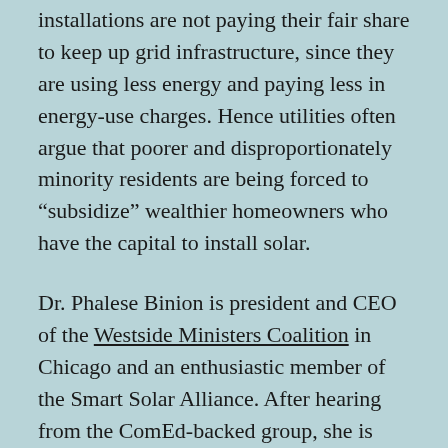installations are not paying their fair share to keep up grid infrastructure, since they are using less energy and paying less in energy-use charges. Hence utilities often argue that poorer and disproportionately minority residents are being forced to “subsidize” wealthier homeowners who have the capital to install solar.
Dr. Phalese Binion is president and CEO of the Westside Ministers Coalition in Chicago and an enthusiastic member of the Smart Solar Alliance. After hearing from the ComEd-backed group, she is convinced that low-income Chicagoans are subsidizing wealthier solar panel owners.
“They are for a fact — they explained that to us,”